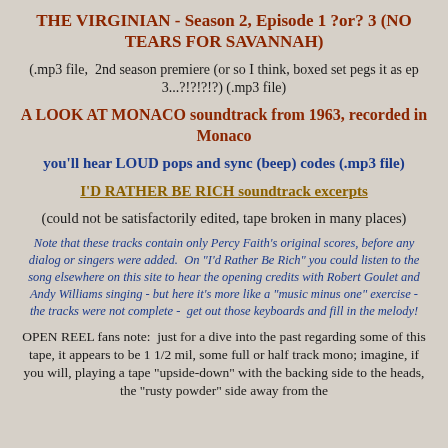THE VIRGINIAN - Season 2, Episode 1 ?or? 3 (NO TEARS FOR SAVANNAH)
(.mp3 file,  2nd season premiere (or so I think, boxed set pegs it as ep 3...?!?!?!?) (.mp3 file)
A LOOK AT MONACO soundtrack from 1963, recorded in Monaco
you'll hear LOUD pops and sync (beep) codes (.mp3 file)
I'D RATHER BE RICH soundtrack excerpts
(could not be satisfactorily edited, tape broken in many places)
Note that these tracks contain only Percy Faith's original scores, before any dialog or singers were added.  On "I'd Rather Be Rich" you could listen to the song elsewhere on this site to hear the opening credits with Robert Goulet and Andy Williams singing - but here it's more like a "music minus one" exercise - the tracks were not complete -  get out those keyboards and fill in the melody!
OPEN REEL fans note:  just for a dive into the past regarding some of this tape, it appears to be 1 1/2 mil, some full or half track mono; imagine, if you will, playing a tape "upside-down" with the backing side to the heads, the "rusty powder" side away from the